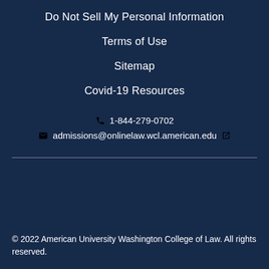Do Not Sell My Personal Information
Terms of Use
Sitemap
Covid-19 Resources
1-844-279-0702
admissions@onlinelaw.wcl.american.edu
© 2022 American University Washington College of Law. All rights reserved.